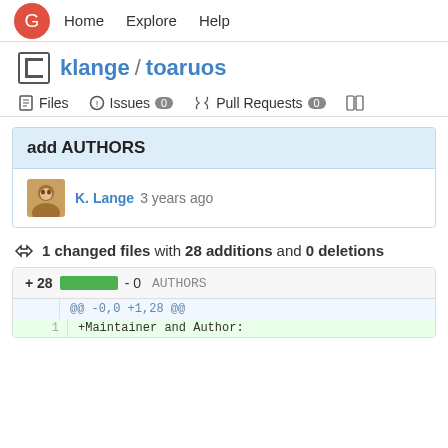Home  Explore  Help
klange / toaruos
Files  Issues 0  Pull Requests 0
add AUTHORS
K. Lange 3 years ago
1 changed files with 28 additions and 0 deletions
+28  -0  AUTHORS
@@ -0,0 +1,28 @@
1  +Maintainer and Author: